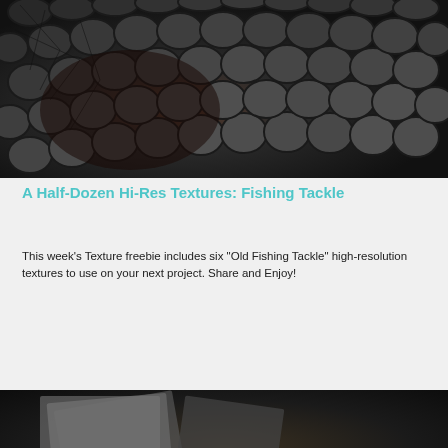[Figure (photo): Close-up photo of fish scales in dark blue-gray tones with hexagonal scale pattern]
A Half-Dozen Hi-Res Textures: Fishing Tackle
This week's Texture freebie includes six “Old Fishing Tackle” high-resolution textures to use on your next project.  Share and Enjoy!
READ MORE
[Figure (photo): Dark blurred photo with what appears to be photographs/prints scattered, with large white text 'Academy' partially visible at the bottom]